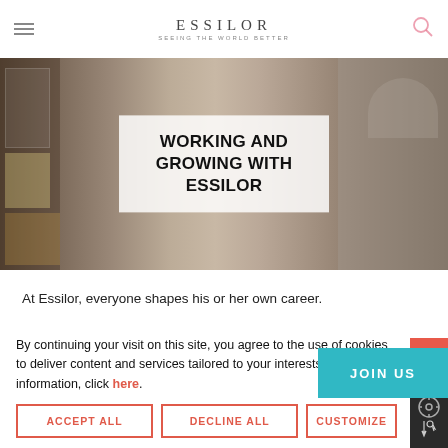ESSILOR
[Figure (photo): Office team photo with people smiling, used as hero background]
WORKING AND GROWING WITH ESSILOR
At Essilor, everyone shapes his or her own career.
By continuing your visit on this site, you agree to the use of cookies to deliver content and services tailored to your interests. For more information, click here.
ACCEPT ALL
DECLINE ALL
JOIN US